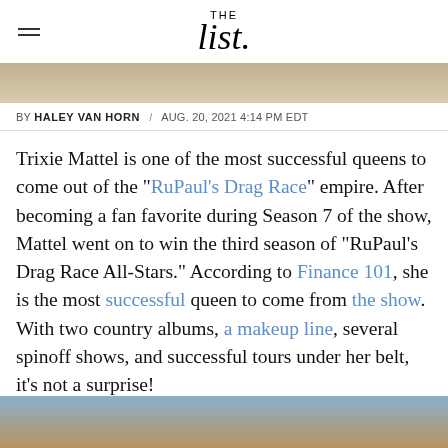THE list
[Figure (photo): Top portion of a person's head, cropped, blonde hair visible]
BY HALEY VAN HORN / AUG. 20, 2021 4:14 PM EDT
Trixie Mattel is one of the most successful queens to come out of the "RuPaul's Drag Race" empire. After becoming a fan favorite during Season 7 of the show, Mattel went on to win the third season of "RuPaul's Drag Race All-Stars." According to Finance 101, she is the most successful queen to come from the show. With two country albums, a makeup line, several spinoff shows, and successful tours under her belt, it's not a surprise!
[Figure (photo): Bottom portion of page showing a person with curly blonde hair against a blue and purple background]